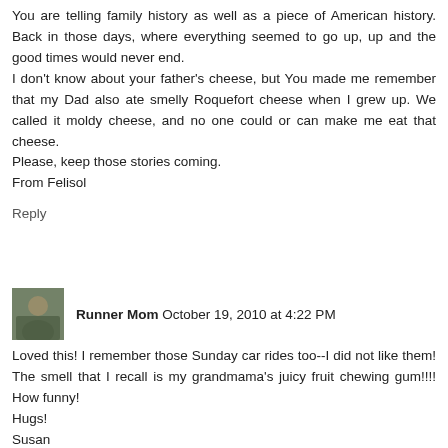You are telling family history as well as a piece of American history. Back in those days, where everything seemed to go up, up and the good times would never end.
I don't know about your father's cheese, but You made me remember that my Dad also ate smelly Roquefort cheese when I grew up. We called it moldy cheese, and no one could or can make me eat that cheese.
Please, keep those stories coming.
From Felisol
Reply
[Figure (photo): Small avatar photo of Runner Mom, showing a person outdoors]
Runner Mom  October 19, 2010 at 4:22 PM
Loved this! I remember those Sunday car rides too--I did not like them! The smell that I recall is my grandmama's juicy fruit chewing gum!!!! How funny!
Hugs!
Susan
Reply